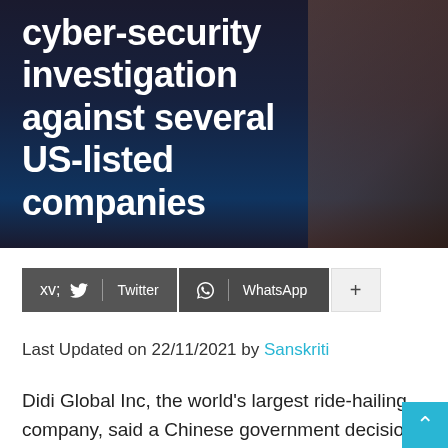cyber-security investigation against several US-listed companies
By Sanskriti – 06/07/2021
Twitter | WhatsApp | +
Last Updated on 22/11/2021 by Sanskriti
Didi Global Inc, the world's largest ride-hailing company, said a Chinese government decision to